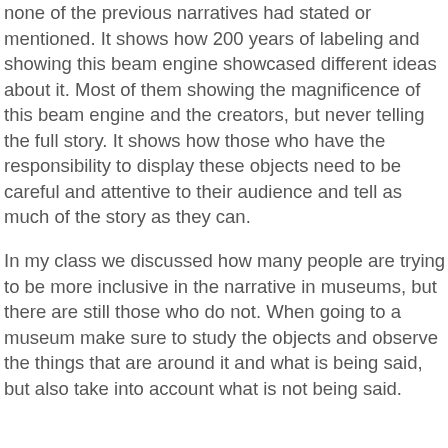none of the previous narratives had stated or mentioned. It shows how 200 years of labeling and showing this beam engine showcased different ideas about it. Most of them showing the magnificence of this beam engine and the creators, but never telling the full story. It shows how those who have the responsibility to display these objects need to be careful and attentive to their audience and tell as much of the story as they can.
In my class we discussed how many people are trying to be more inclusive in the narrative in museums, but there are still those who do not. When going to a museum make sure to study the objects and observe the things that are around it and what is being said, but also take into account what is not being said.